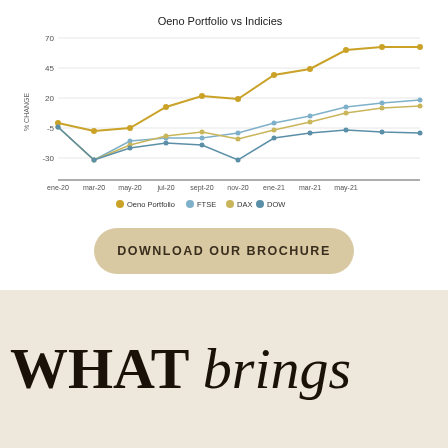[Figure (line-chart): Oeno Portfolio vs Indicies]
DOWNLOAD OUR BROCHURE
WHAT brings HERE